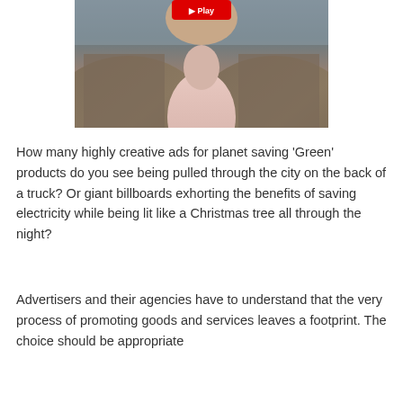[Figure (photo): A person in a heckled brown blazer and pink shirt, photographed from chest up, with a red YouTube-style play button visible at the top center of the image.]
How many highly creative ads for planet saving 'Green' products do you see being pulled through the city on the back of a truck? Or giant billboards exhorting the benefits of saving electricity while being lit like a Christmas tree all through the night?
Advertisers and their agencies have to understand that the very process of promoting goods and services leaves a footprint. The choice should be appropriate …e showriting the logo… and there must